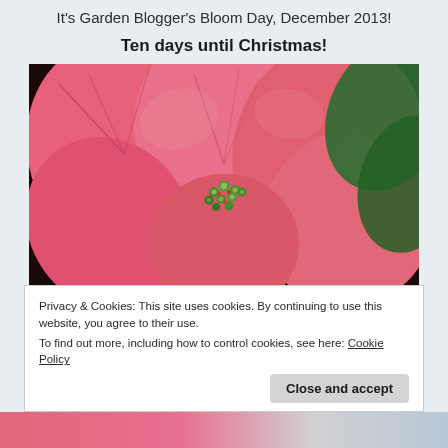It's Garden Blogger's Bloom Day, December 2013!
Ten days until Christmas!
[Figure (photo): Close-up photograph of a pink poinsettia plant with bright pink/salmon-colored bracts and small green flower buds in the center, with green leaves visible in the background.]
Privacy & Cookies: This site uses cookies. By continuing to use this website, you agree to their use.
To find out more, including how to control cookies, see here: Cookie Policy
Close and accept